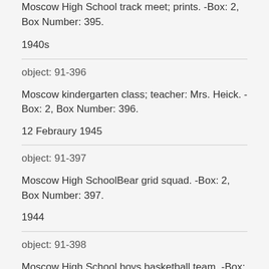Moscow High School track meet; prints. -Box: 2, Box Number: 395.
1940s
object: 91-396
Moscow kindergarten class; teacher: Mrs. Heick. -Box: 2, Box Number: 396.
12 Febraury 1945
object: 91-397
Moscow High SchoolBear grid squad. -Box: 2, Box Number: 397.
1944
object: 91-398
Moscow High School boys basketball team. -Box: 2,